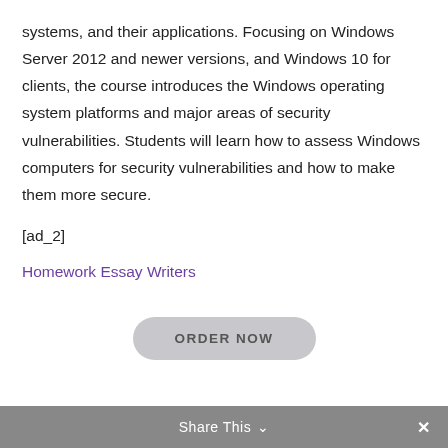systems, and their applications. Focusing on Windows Server 2012 and newer versions, and Windows 10 for clients, the course introduces the Windows operating system platforms and major areas of security vulnerabilities. Students will learn how to assess Windows computers for security vulnerabilities and how to make them more secure.
[ad_2]
Homework Essay Writers
ORDER NOW
Share This ∨  ✕